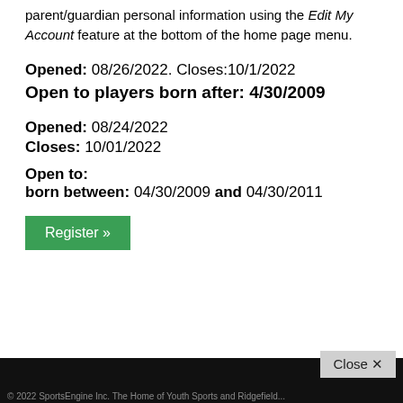parent/guardian personal information using the Edit My Account feature at the bottom of the home page menu.
Opened:  08/26/2022. Closes:10/1/2022
Open to players born after: 4/30/2009
Opened:  08/24/2022
Closes:  10/01/2022
Open to:
born between:  04/30/2009  and  04/30/2011
[Figure (other): Green Register button with double angle bracket]
© 2022 SportsEngine Inc. The Home of Youth Sports and Ridgefield...